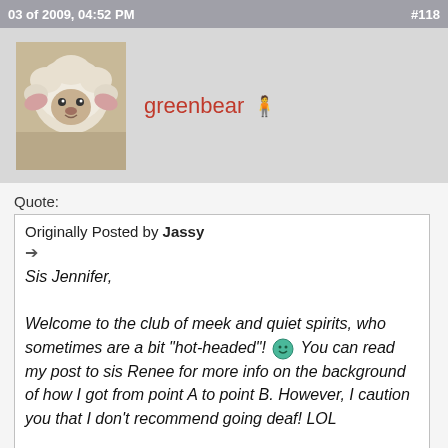03 of 2009, 04:52 PM  #118
greenbear [user icon]
Quote:
Originally Posted by Jassy
➔
Sis Jennifer,

Welcome to the club of meek and quiet spirits, who sometimes are a bit "hot-headed"! [smiley] You can read my post to sis Renee for more info on the background of how I got from point A to point B. However, I caution you that I don't recommend going deaf! LOL

Isn't it wonderful that we have such "ensamples"? I am very thankful to the Lord for them.

You have a wonderful spirit Jennifer. I've seen that, in your communications with me and others, when you feel you've been wrong, you will humbly apologize... even if I haven't seen where you've been